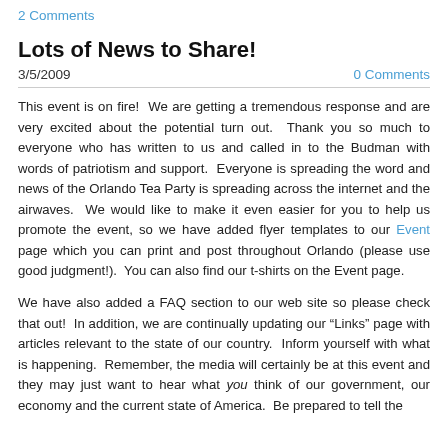2 Comments
Lots of News to Share!
3/5/2009   0 Comments
This event is on fire!  We are getting a tremendous response and are very excited about the potential turn out.  Thank you so much to everyone who has written to us and called in to the Budman with words of patriotism and support.  Everyone is spreading the word and news of the Orlando Tea Party is spreading across the internet and the airwaves.  We would like to make it even easier for you to help us promote the event, so we have added flyer templates to our Event page which you can print and post throughout Orlando (please use good judgment!).  You can also find our t-shirts on the Event page.
We have also added a FAQ section to our web site so please check that out!  In addition, we are continually updating our "Links" page with articles relevant to the state of our country.  Inform yourself with what is happening.  Remember, the media will certainly be at this event and they may just want to hear what you think of our government, our economy and the current state of America.  Be prepared to tell the